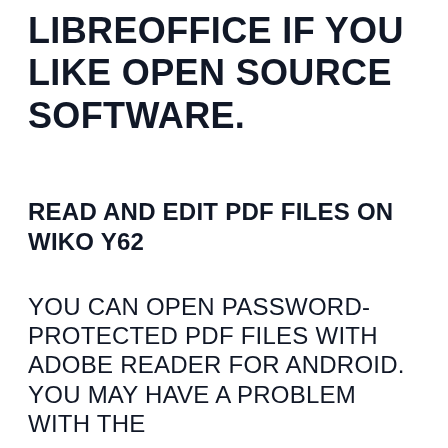LIBREOFFICE IF YOU LIKE OPEN SOURCE SOFTWARE.
READ AND EDIT PDF FILES ON WIKO Y62
YOU CAN OPEN PASSWORD-PROTECTED PDF FILES WITH ADOBE READER FOR ANDROID. YOU MAY HAVE A PROBLEM WITH THE